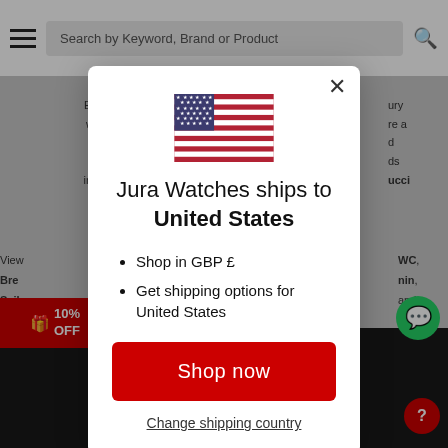[Figure (screenshot): Website header with hamburger menu, search bar 'Search by Keyword, Brand or Product', and search icon]
Est... luxury wa... re a fa... d re... ds incl... ucci
View... IWC, Bre... nin, Seik... and
[Figure (screenshot): Modal dialog overlay: US flag, title 'Jura Watches ships to United States', bullet points 'Shop in GBP £' and 'Get shipping options for United States', red 'Shop now' button, 'Change shipping country' link, and X close button]
10% OFF
JURA WATCHES OFFERS & NEW...